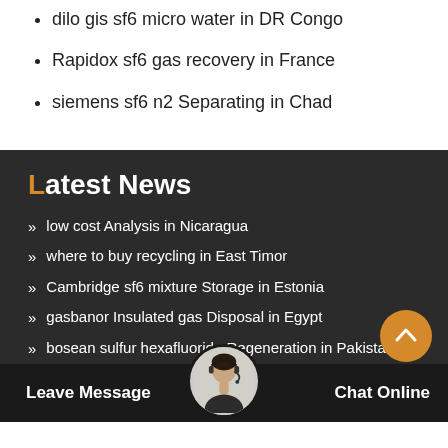dilo gis sf6 micro water in DR Congo
Rapidox sf6 gas recovery in France
siemens sf6 n2 Separating in Chad
Latest News
low cost Analysis in Nicaragua
where to buy recycling in East Timor
Cambridge sf6 mixture Storage in Estonia
gasbanor Insulated gas Disposal in Egypt
bosean sulfur hexafluoride Regeneration in Pakistan
bosean sf6 n2 End of Life Se... Belarus
Handheld gis sf6 Recovery in Gambia
Leave Message
Chat Online